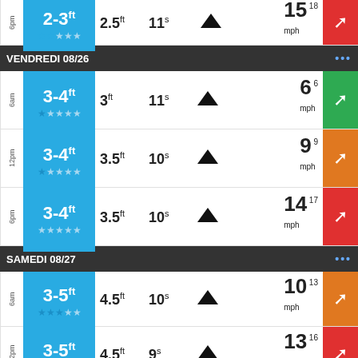| Time | Wave | Height | Period | Direction | Stars | Wind | Badge |
| --- | --- | --- | --- | --- | --- | --- | --- |
| 6pm | 2-3ft | 2.5ft | 11s | ▲ | ★★☆☆☆ | 15 18mph | red |
| VENDREDI 08/26 |  |  |  |  |  |  |  |
| 6am | 3-4ft | 3ft | 11s | ▲ | ★☆☆☆☆ | 6 6mph | green |
| 12pm | 3-4ft | 3.5ft | 10s | ▲ | ★☆☆☆☆ | 9 9mph | orange |
| 6pm | 3-4ft | 3.5ft | 10s | ▲ | ★★☆☆☆ | 14 17mph | red |
| SAMEDI 08/27 |  |  |  |  |  |  |  |
| 6am | 3-5ft | 4.5ft | 10s | ▲ | ★★★☆☆ | 10 13mph | orange |
| 12pm | 3-5ft | 4.5ft | 9s | ▲ | ★☆☆☆☆ | 13 16mph | red |
| 6pm | 3-5ft | 4.5ft | 10s | ▲ | ★☆☆☆☆ | 16 19mph | red |
| DIMANCHE 08/28 |  |  |  |  |  |  |  |
| 6am | 4-6ft | 5ft | 10s | ▲ |  | 13 18mph | red |